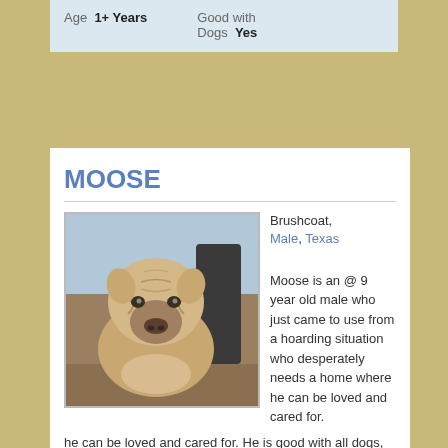Age: 1+ Years   Good with Dogs: Yes
MOOSE
[Figure (photo): Close-up photo of Moose, a Shar-Pei dog with wrinkled face and light-colored fur, looking upward outdoors.]
Brushcoat, Male, Texas
Moose is an @ 9 year old male who just came to use from a hoarding situation who desperately needs a home where he can be loved and cared for. He is good with all dogs, male, female, big or small. He is a gentle dog that needs a loving home to live his...